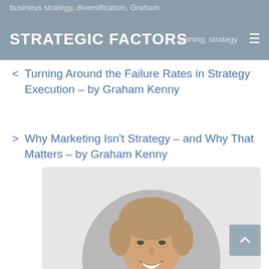business strategy, diversification, Graham – planning, strategy – STRATEGIC FACTORS
< Turning Around the Failure Rates in Strategy Execution – by Graham Kenny
> Why Marketing Isn't Strategy – and Why That Matters – by Graham Kenny
[Figure (photo): Professional headshot of Graham Kenny, a middle-aged man with glasses and short grey-brown hair, smiling, set in a circular crop against a grey background.]